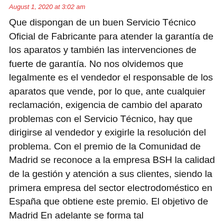August 1, 2020 at 3:02 am
Que dispongan de un buen Servicio Técnico Oficial de Fabricante para atender la garantía de los aparatos y también las intervenciones de fuerte de garantía. No nos olvidemos que legalmente es el vendedor el responsable de los aparatos que vende, por lo que, ante cualquier reclamación, exigencia de cambio del aparato problemas con el Servicio Técnico, hay que dirigirse al vendedor y exigirle la resolución del problema. Con el premio de la Comunidad de Madrid se reconoce a la empresa BSH la calidad de la gestión y atención a sus clientes, siendo la primera empresa del sector electrodoméstico en España que obtiene este premio. El objetivo de Madrid En adelante se forma tal...